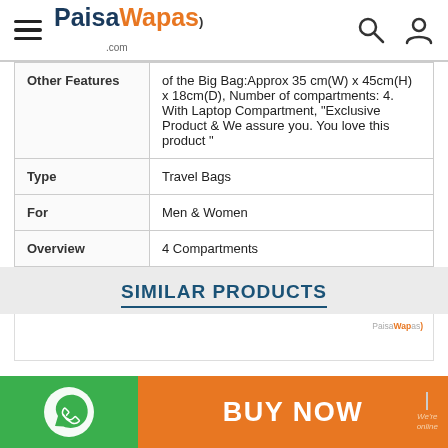PaisaWapas.com
| Other Features | of the Big Bag:Approx 35 cm(W) x 45cm(H) x 18cm(D), Number of compartments: 4. With Laptop Compartment, "Exclusive Product & We assure you. You love this product " |
| Type | Travel Bags |
| For | Men & Women |
| Overview | 4 Compartments |
SIMILAR PRODUCTS
[Figure (screenshot): Partial product card area with PaisaWapas watermark]
[Figure (infographic): Bottom bar with WhatsApp icon on green background and BUY NOW button on orange background]